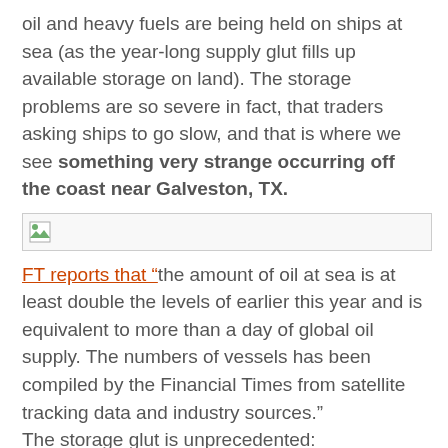oil and heavy fuels are being held on ships at sea (as the year-long supply glut fills up available storage on land). The storage problems are so severe in fact, that traders asking ships to go slow, and that is where we see something very strange occurring off the coast near Galveston, TX.
[Figure (photo): Broken image placeholder icon]
FT reports that “the amount of oil at sea is at least double the levels of earlier this year and is equivalent to more than a day of global oil supply. The numbers of vessels has been compiled by the Financial Times from satellite tracking data and industry sources.” The storage glut is unprecedented: